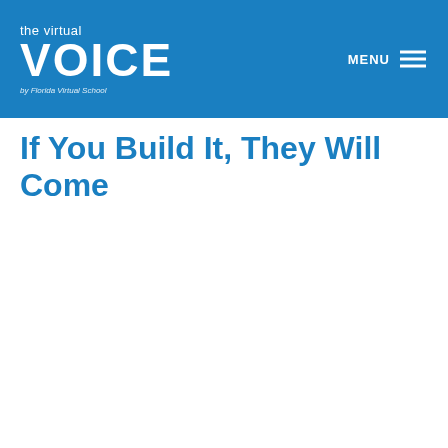the virtual VOICE by Florida Virtual School
If You Build It, They Will Come
[Figure (illustration): FLVS 20 years of innovative student learning logo alongside a vintage desktop computer with a colorful educational screen showing a cartoon student on a beach with palm trees]